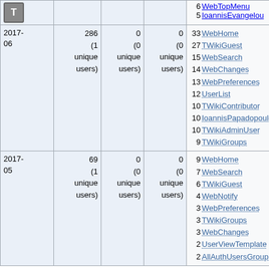|  |  |  |  | Top pages |
| --- | --- | --- | --- | --- |
| [T icon] |  |  |  | 6 WebTopMenu
5 IoannisEvangelou |
| 2017-06 | 286
(1 unique users) | 0
(0 unique users) | 0
(0 unique users) | 33 WebHome
27 TWikiGuest
15 WebSearch
14 WebChanges
13 WebPreferences
12 UserList
10 TWikiContributor
10 IoannisPapadopoulos
10 TWikiAdminUser
9 TWikiGroups |
| 2017-05 | 69
(1 unique users) | 0
(0 unique users) | 0
(0 unique users) | 9 WebHome
7 WebSearch
6 TWikiGuest
4 WebNotify
3 WebPreferences
3 TWikiGroups
3 WebChanges
2 UserViewTemplate
2 AllAuthUsersGroup |